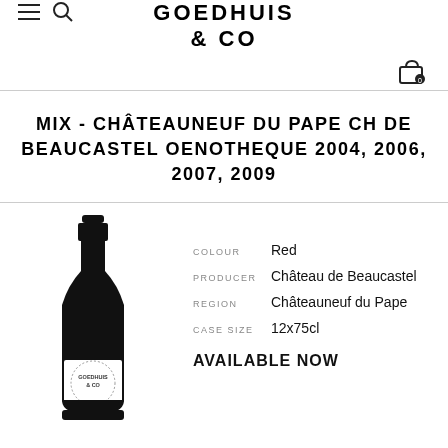GOEDHUIS & CO
MIX - CHÂTEAUNEUF DU PAPE CH DE BEAUCASTEL OENOTHEQUE 2004, 2006, 2007, 2009
[Figure (illustration): Black silhouette illustration of a wine bottle with a circular Goedhuis & Co label on it]
| Attribute | Value |
| --- | --- |
| COLOUR | Red |
| PRODUCER | Château de Beaucastel |
| REGION | Châteauneuf du Pape |
| CASE SIZE | 12x75cl |
AVAILABLE NOW